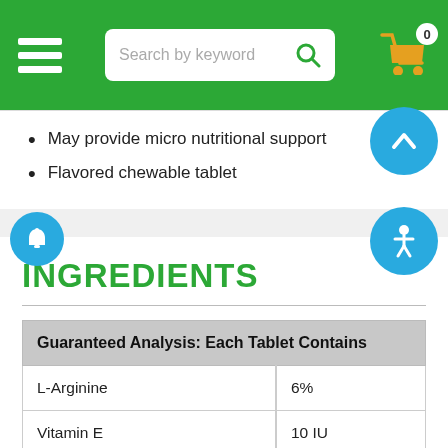Search by keyword — navigation bar with hamburger menu and cart
May provide micro nutritional support
Flavored chewable tablet
INGREDIENTS
| Guaranteed Analysis: Each Tablet Contains |  |
| --- | --- |
| L-Arginine | 6% |
| Vitamin E | 10 IU |
| Omega-3 fatty acids* | 900 mg |
| Docosahexaenoic Acid (DHA)(min) |  |
| Silymarin* | 60 mg |